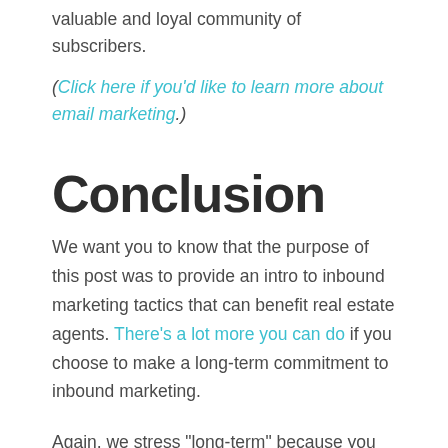valuable and loyal community of subscribers.
(Click here if you'd like to learn more about email marketing.)
Conclusion
We want you to know that the purpose of this post was to provide an intro to inbound marketing tactics that can benefit real estate agents. There's a lot more you can do if you choose to make a long-term commitment to inbound marketing.
Again, we stress “long-term” because you aren’t going to see a significant change right away.